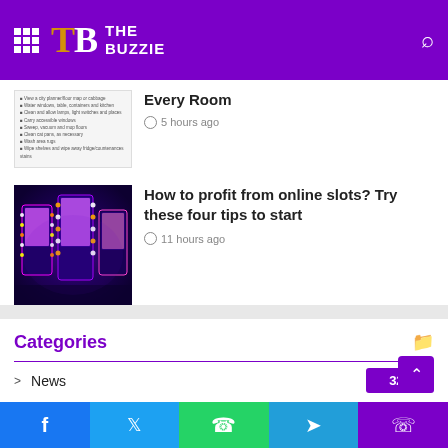THE BUZZIE
Every Room
5 hours ago
How to profit from online slots? Try these four tips to start
11 hours ago
Categories
News 326
All 252
Technology